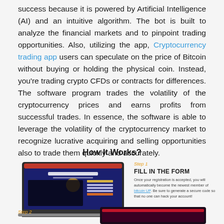success because it is powered by Artificial Intelligence (AI) and an intuitive algorithm. The bot is built to analyze the financial markets and to pinpoint trading opportunities. Also, utilizing the app, Cryptocurrency trading app users can speculate on the price of Bitcoin without buying or holding the physical coin. Instead, you're trading crypto CFDs or contracts for differences. The software program trades the volatility of the cryptocurrency prices and earns profits from successful trades. In essence, the software is able to leverage the volatility of the cryptocurrency market to recognize lucrative acquiring and selling opportunities also to trade them quickly and accurately.
How It Works?
[Figure (screenshot): Laptop screenshot showing a trading platform with text 'Fast & Effective Way To Get Rich' and a form to fill in]
Step 1
FILL IN THE FORM
Once your registration is accepted, you will automatically become the newest member of bitcoin UP. Be sure to generate a secure code so that no one can hack your account!
Step 2
[Figure (screenshot): Mobile phone screenshot showing trading platform]